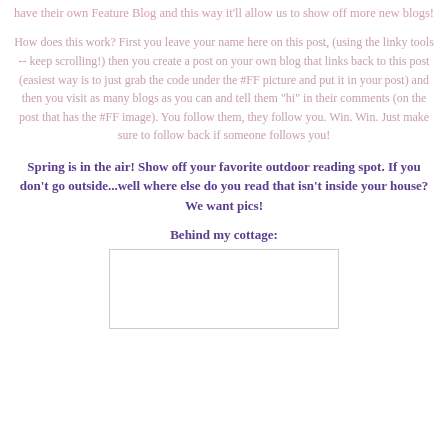have their own Feature Blog and this way it'll allow us to show off more new blogs!
How does this work? First you leave your name here on this post, (using the linky tools -- keep scrolling!) then you create a post on your own blog that links back to this post (easiest way is to just grab the code under the #FF picture and put it in your post) and then you visit as many blogs as you can and tell them "hi" in their comments (on the post that has the #FF image). You follow them, they follow you. Win. Win. Just make sure to follow back if someone follows you!
Spring is in the air! Show off your favorite outdoor reading spot. If you don't go outside...well where else do you read that isn't inside your house? We want pics!
Behind my cottage:
[Figure (photo): A photo placeholder showing a broken image icon, representing a cottage outdoor reading spot photo]